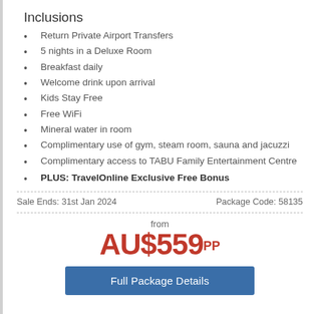Inclusions
Return Private Airport Transfers
5 nights in a Deluxe Room
Breakfast daily
Welcome drink upon arrival
Kids Stay Free
Free WiFi
Mineral water in room
Complimentary use of gym, steam room, sauna and jacuzzi
Complimentary access to TABU Family Entertainment Centre
PLUS: TravelOnline Exclusive Free Bonus
Sale Ends: 31st Jan 2024
Package Code: 58135
from AU$559pp
Full Package Details